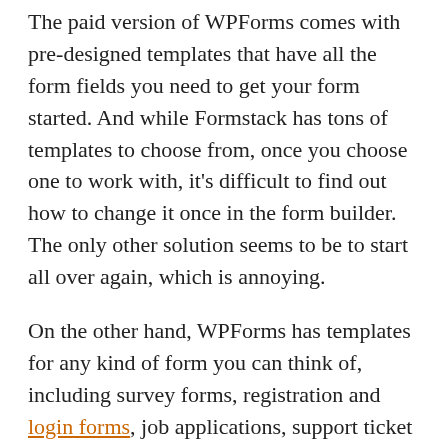The paid version of WPForms comes with pre-designed templates that have all the form fields you need to get your form started. And while Formstack has tons of templates to choose from, once you choose one to work with, it's difficult to find out how to change it once in the form builder. The only other solution seems to be to start all over again, which is annoying.
On the other hand, WPForms has templates for any kind of form you can think of, including survey forms, registration and login forms, job applications, support ticket forms, donation forms, and so much more.
Accessing WPForms' pre-made templates is easy since they are found right in the WPForms Form Editor. And if you need to change an existing template while customizing the form you're working on, all you have to do is access the templates and make a change.